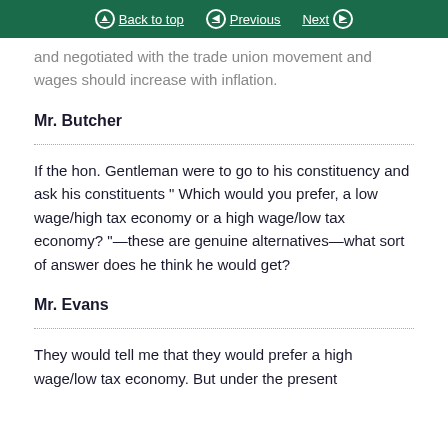Back to top | Previous | Next
and negotiated with the trade union movement and wages should increase with inflation.
Mr. Butcher
If the hon. Gentleman were to go to his constituency and ask his constituents " Which would you prefer, a low wage/high tax economy or a high wage/low tax economy? "—these are genuine alternatives—what sort of answer does he think he would get?
Mr. Evans
They would tell me that they would prefer a high wage/low tax economy. But under the present